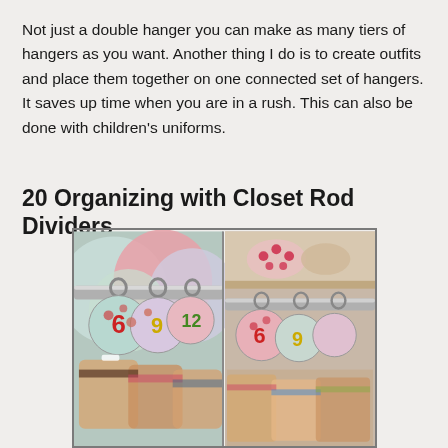Not just a double hanger you can make as many tiers of hangers as you want. Another thing I do is to create outfits and place them together on one connected set of hangers. It saves up time when you are in a rush. This can also be done with children's uniforms.
20 Organizing with Closet Rod Dividers
[Figure (photo): Two side-by-side photos of colorful closet rod dividers with numbers (6, 9, 12) on a clothing rod, with children's clothes hangers visible below in the left photo and a closer view of the dividers in the right photo.]